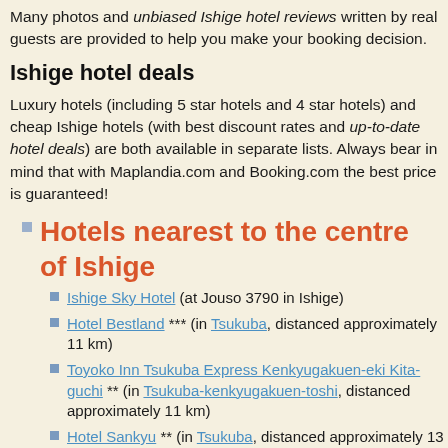Many photos and unbiased Ishige hotel reviews written by real guests are provided to help you make your booking decision.
Ishige hotel deals
Luxury hotels (including 5 star hotels and 4 star hotels) and cheap Ishige hotels (with best discount rates and up-to-date hotel deals) are both available in separate lists. Always bear in mind that with Maplandia.com and Booking.com the best price is guaranteed!
Hotels nearest to the centre of Ishige
Ishige Sky Hotel (at Jouso 3790 in Ishige)
Hotel Bestland *** (in Tsukuba, distanced approximately 11 km)
Toyoko Inn Tsukuba Express Kenkyugakuen-eki Kita-guchi ** (in Tsukuba-kenkyugakuen-toshi, distanced approximately 11 km)
Hotel Sankyu ** (in Tsukuba, distanced approximately 13 km)